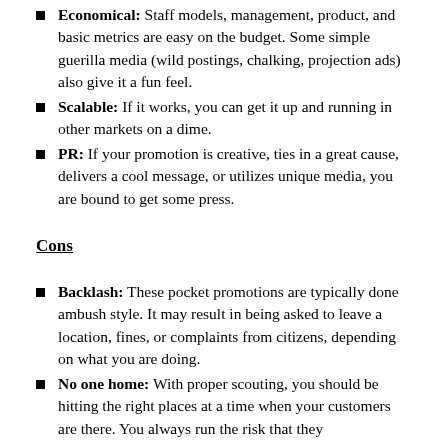Economical: Staff models, management, product, and basic metrics are easy on the budget. Some simple guerilla media (wild postings, chalking, projection ads) also give it a fun feel.
Scalable: If it works, you can get it up and running in other markets on a dime.
PR: If your promotion is creative, ties in a great cause, delivers a cool message, or utilizes unique media, you are bound to get some press.
Cons
Backlash: These pocket promotions are typically done ambush style. It may result in being asked to leave a location, fines, or complaints from citizens, depending on what you are doing.
No one home: With proper scouting, you should be hitting the right places at a time when your customers are there. You always run the risk that they might not be as numerous as you'd like them to.